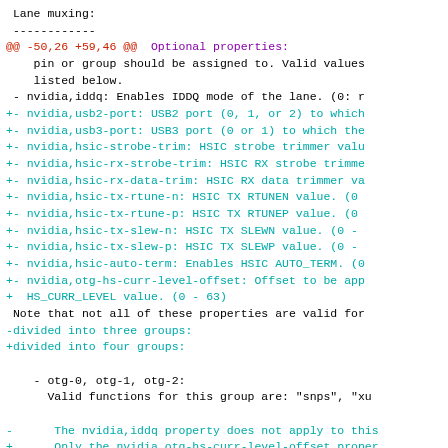Lane muxing:
 ------------
@@ -50,26 +59,46 @@  Optional properties:
pin or group should be assigned to. Valid values
    listed below.
- nvidia,iddq: Enables IDDQ mode of the lane. (0: r
+- nvidia,usb2-port: USB2 port (0, 1, or 2) to which
+- nvidia,usb3-port: USB3 port (0 or 1) to which the
+- nvidia,hsic-strobe-trim: HSIC strobe trimmer valu
+- nvidia,hsic-rx-strobe-trim: HSIC RX strobe trimme
+- nvidia,hsic-rx-data-trim: HSIC RX data trimmer va
+- nvidia,hsic-tx-rtune-n: HSIC TX RTUNEN value. (0
+- nvidia,hsic-tx-rtune-p: HSIC TX RTUNEP value. (0
+- nvidia,hsic-tx-slew-n: HSIC TX SLEWN value. (0 -
+- nvidia,hsic-tx-slew-p: HSIC TX SLEWP value. (0 -
+- nvidia,hsic-auto-term: Enables HSIC AUTO_TERM. (0
+- nvidia,otg-hs-curr-level-offset: Offset to be app
+  HS_CURR_LEVEL value. (0 - 63)
Note that not all of these properties are valid for
-divided into three groups:
+divided into four groups:
- otg-0, otg-1, otg-2:
Valid functions for this group are: "snps", "xu
-      The nvidia,iddq property does not apply to this
+      Only the nvidia,otg-hs-curr-level-offset proper
+
+    - ulpi-0: